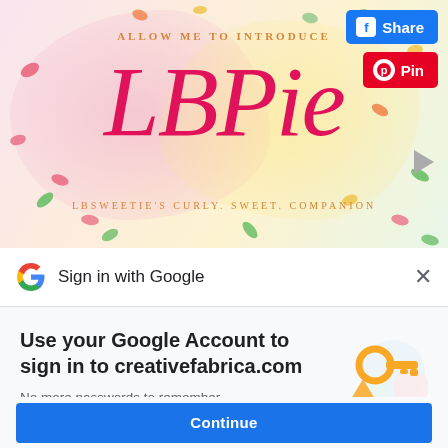[Figure (screenshot): Decorative banner image with watercolor pink and yellow background, candy/confetti decorations, text 'ALLOW ME TO INTRODUCE' above large pink cursive font 'LBPie', subtitle 'LBSWEETIE'S CURLY. SWEET. COMPANION'. Facebook Share and Pinterest Pin buttons visible top-right. Play button triangle on right edge.]
Sign in with Google
Use your Google Account to sign in to creativefabrica.com
No more passwords to remember.
Signing in is fast, simple and secure.
Continue